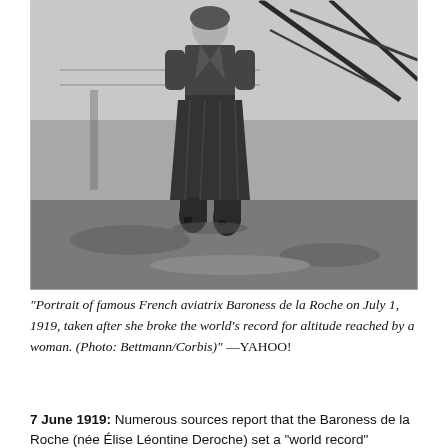[Figure (photo): Black and white photograph of a woman (Baroness de la Roche) standing outdoors in a long dark skirt and jacket, with part of an early aircraft visible in the background. The ground is rough terrain.]
“Portrait of famous French aviatrix Baroness de la Roche on July 1, 1919, taken after she broke the world’s record for altitude reached by a woman. (Photo: Bettmann/Corbis)” —YAHOO!
7 June 1919: Numerous sources report that the Baroness de la Roche (née Élise Léontine Deroche) set a “world record”